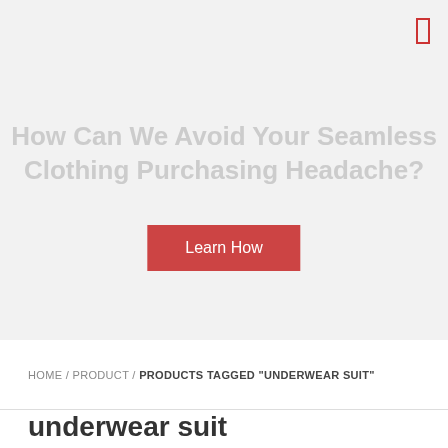[Figure (other): Hero banner with light gray background and a red bordered menu icon in the top right corner]
How Can We Avoid Your Seamless Clothing Purchasing Headache?
Learn How
HOME / PRODUCT / PRODUCTS TAGGED "UNDERWEAR SUIT"
underwear suit